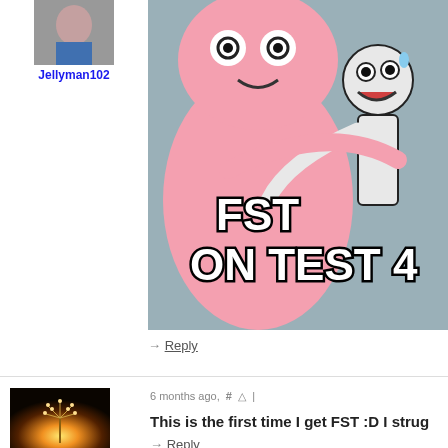Jellyman102
[Figure (illustration): Meme image showing a pink blob character hugging a nervous stick figure. Bold white text with black outline reads 'FST ON TEST 4'. Background is grey-blue.]
→ Reply
6 months ago,  #  ↑  |
[Figure (photo): Photo of a dandelion backlit by golden light against dark background.]
This is the first time I get FST :D I strug
→ Reply